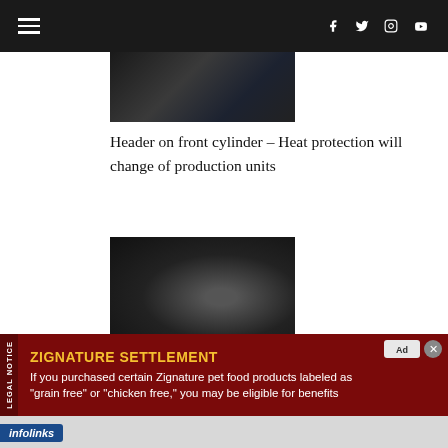Navigation bar with hamburger menu and social icons (Facebook, Twitter, Instagram, YouTube)
[Figure (photo): Partial view of motorcycle engine header on front cylinder, dark metallic tones]
Header on front cylinder – Heat protection will change of production units
[Figure (photo): Close-up of motorcycle exhaust tailpipe and header pipes on the XTZ, dark metallic components with circular disc visible]
The tailpipe on the exhaust is much smaller that either of the two header pipes. The headers on the XTZ are